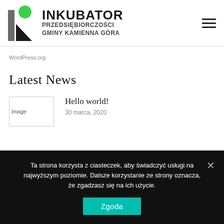[Figure (logo): Inkubator Przedsiębiorczości Gminy Kamienna Góra logo with stylized 'i' letter mark and green circle]
WordPress.org
Latest News
[Figure (photo): Thumbnail image placeholder labeled 'image']
Hello world!
30 marca, 2020
Ta strona korzysta z ciasteczek, aby świadczyć usługi na najwyższym poziomie. Dalsze korzystanie ze strony oznacza, że zgadzasz się na ich użycie.